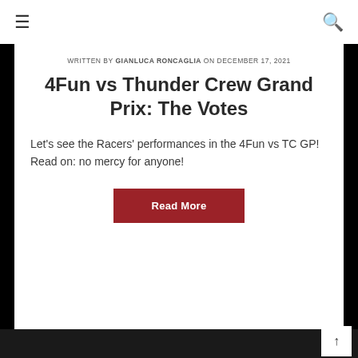☰  🔍
WRITTEN BY GIANLUCA RONCAGLIA ON DECEMBER 17, 2021
4Fun vs Thunder Crew Grand Prix: The Votes
Let's see the Racers' performances in the 4Fun vs TC GP! Read on: no mercy for anyone!
Read More
↑